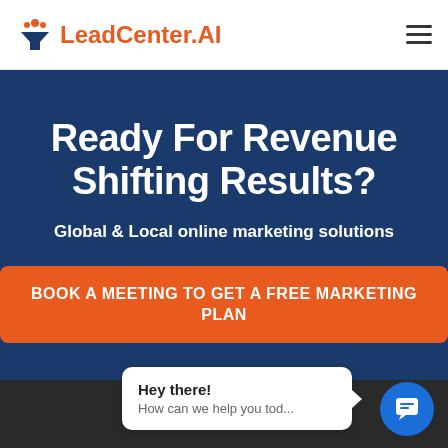LeadCenter.AI
Ready For Revenue Shifting Results?
Global & Local online marketing solutions
BOOK A MEETING TO GET A FREE MARKETING PLAN
Hey there! How can we help you tod...